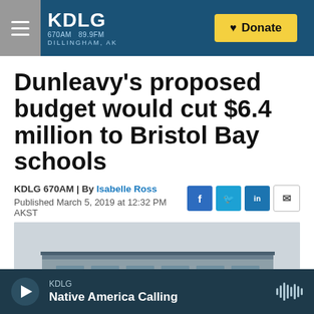KDLG 670AM 89.9FM DILLINGHAM, AK | Donate
Dunleavy's proposed budget would cut $6.4 million to Bristol Bay schools
KDLG 670AM | By Isabelle Ross
Published March 5, 2019 at 12:32 PM AKST
[Figure (photo): Exterior photo of a school building, showing roofline and facade against an overcast sky]
KDLG — Native America Calling